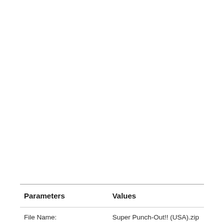| Parameters | Values |
| --- | --- |
| File Name: | Super Punch-Out!! (USA).zip |